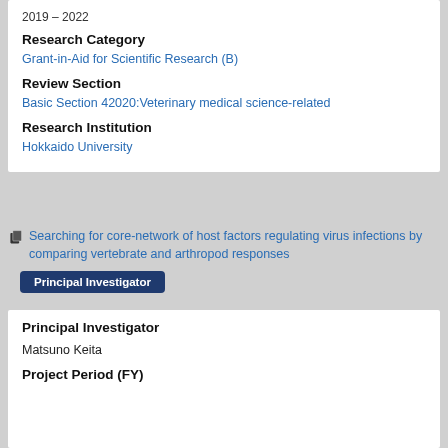2019 – 2022
Research Category
Grant-in-Aid for Scientific Research (B)
Review Section
Basic Section 42020:Veterinary medical science-related
Research Institution
Hokkaido University
Searching for core-network of host factors regulating virus infections by comparing vertebrate and arthropod responses
Principal Investigator
Principal Investigator
Matsuno Keita
Project Period (FY)